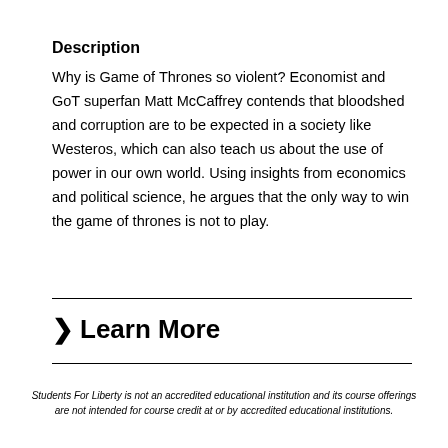Description
Why is Game of Thrones so violent? Economist and GoT superfan Matt McCaffrey contends that bloodshed and corruption are to be expected in a society like Westeros, which can also teach us about the use of power in our own world. Using insights from economics and political science, he argues that the only way to win the game of thrones is not to play.
➤ Learn More
Students For Liberty is not an accredited educational institution and its course offerings are not intended for course credit at or by accredited educational institutions.